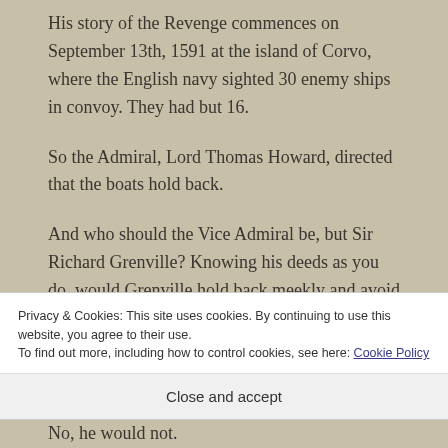His story of the Revenge commences on September 13th, 1591 at the island of Corvo, where the English navy sighted 30 enemy ships in convoy. They had but 16.
So the Admiral, Lord Thomas Howard, directed that the boats hold back.
And who should the Vice Admiral be, but Sir Richard Grenville? Knowing his deeds as you do, would Grenville hold back meekly and avoid a fight?
Privacy & Cookies: This site uses cookies. By continuing to use this website, you agree to their use.
To find out more, including how to control cookies, see here: Cookie Policy
Close and accept
No, he would not.